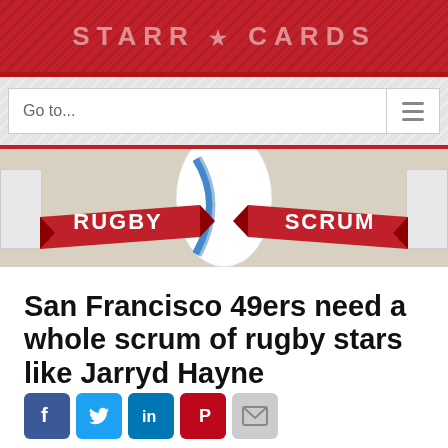STARR★CARDS
[Figure (screenshot): Rugby Scrum banner with rugby ball graphic, text RUGBY and SCRUM on red ribbon banners]
San Francisco 49ers need a whole scrum of rugby stars like Jarryd Hayne
[Figure (infographic): Social sharing buttons: Facebook, Twitter, LinkedIn, Pinterest, Email]
The San Francisco 49ers opening weekend win against the Minnesota Vikings is looking more and more like an aberration